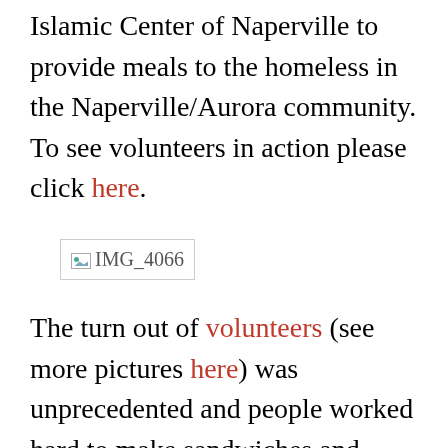Islamic Center of Naperville to provide meals to the homeless in the Naperville/Aurora community. To see volunteers in action please click here.
[Figure (photo): Broken/missing image placeholder labeled IMG_4066]
The turn out of volunteers (see more pictures here) was unprecedented and people worked hard to make sandwiches and salad containers with love, purpose and dedication.
Crews were divided into stations: The sandwich station consisted of a row of Z shaped honey scribblers, cinnamon sprinklers, sunflower butter spreaders and banana choppers and placers. The